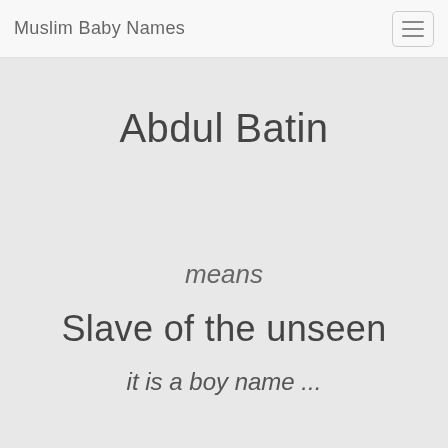Muslim Baby Names
Abdul Batin
means
Slave of the unseen
it is a boy name ...